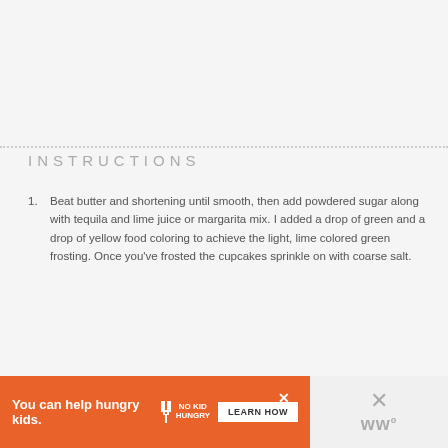INSTRUCTIONS
Beat butter and shortening until smooth, then add powdered sugar along with tequila and lime juice or margarita mix. I added a drop of green and a drop of yellow food coloring to achieve the light, lime colored green frosting. Once you've frosted the cupcakes sprinkle on with coarse salt.
[Figure (other): Orange advertisement banner: 'You can help hungry kids.' with No Kid Hungry logo and LEARN HOW button. Right side shows a gray panel with X close button and W logo.]